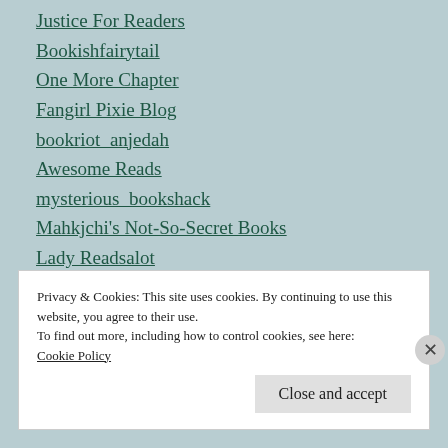Justice For Readers
Bookishfairytail
One More Chapter
Fangirl Pixie Blog
bookriot_anjedah
Awesome Reads
mysterious_bookshack
Mahkjchi's Not-So-Secret Books
Lady Readsalot
lacyduckie
Diary Of A Bookgirl
Privacy & Cookies: This site uses cookies. By continuing to use this website, you agree to their use.
To find out more, including how to control cookies, see here: Cookie Policy